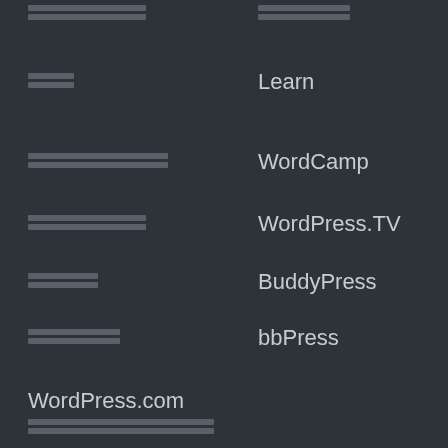[Figure (other): Redacted/blurred text block top-left (two rows of boxes)]
[Figure (other): Redacted/blurred text block top-right (one row of boxes)]
[Figure (other): Redacted/blurred text (two-character block, left column)]
Learn
[Figure (other): Redacted/blurred text block (8 chars, left column)]
WordCamp
[Figure (other): Redacted/blurred text block (7 chars, left column)]
WordPress.TV
[Figure (other): Redacted/blurred text block (4 chars, left column)]
BuddyPress
[Figure (other): Redacted/blurred text block (5 chars, left column)]
bbPress
WordPress.com
[Figure (other): Redacted/blurred text block (13 chars, left column)]
[Figure (other): Redacted/blurred text block (8 chars, left column)]
[Figure (other): Redacted/blurred text block (6 chars, left column)]